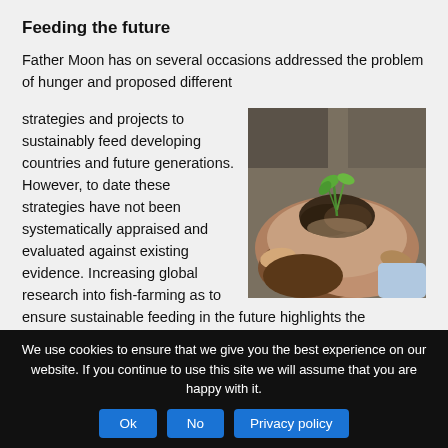Feeding the future
Father Moon has on several occasions addressed the problem of hunger and proposed different
strategies and projects to sustainably feed developing countries and future generations. However, to date these strategies have not been systematically appraised and evaluated against existing evidence. Increasing global research into fish-farming as to ensure sustainable feeding in the future highlights the relevance of Father Moon’s efforts.
[Figure (photo): Multiple hands of different skin tones cupped together holding soil with a small green seedling growing from it.]
The main aim of this project is to carry out an appraisal
We use cookies to ensure that we give you the best experience on our website. If you continue to use this site we will assume that you are happy with it.